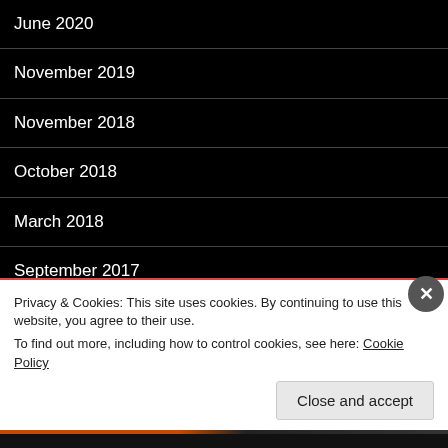June 2020
November 2019
November 2018
October 2018
March 2018
September 2017
October 2016
June 2016
April 2016
Privacy & Cookies: This site uses cookies. By continuing to use this website, you agree to their use.
To find out more, including how to control cookies, see here: Cookie Policy
Close and accept